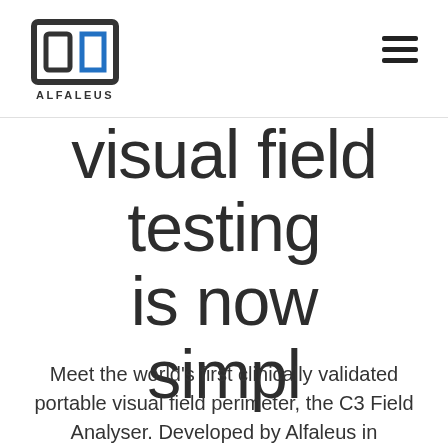[Figure (logo): Alfaleus logo with geometric square/rectangle icon in black and blue, with text ALFALEUS below]
visual field testing is now simpl
Meet the world's first clinically validated portable visual field perimeter, the C3 Field Analyser. Developed by Alfaleus in collaboration with Remidio.